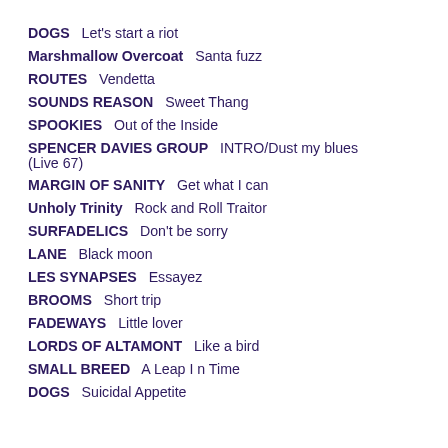DOGS   Let's start a riot
Marshmallow Overcoat   Santa fuzz
ROUTES   Vendetta
SOUNDS REASON   Sweet Thang
SPOOKIES   Out of the Inside
SPENCER DAVIES GROUP   INTRO/Dust my blues (Live 67)
MARGIN OF SANITY   Get what I can
Unholy Trinity   Rock and Roll Traitor
SURFADELICS   Don't be sorry
LANE   Black moon
LES SYNAPSES   Essayez
BROOMS   Short trip
FADEWAYS   Little lover
LORDS OF ALTAMONT   Like a bird
SMALL BREED   A Leap I n Time
DOGS   Suicidal Appetite